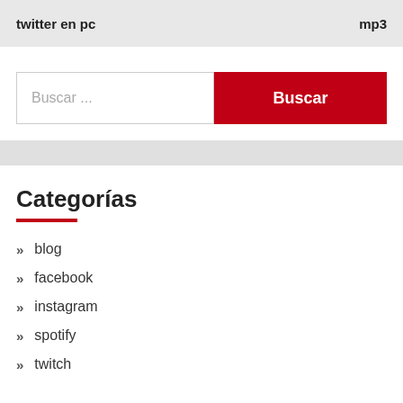twitter en pc  mp3
[Figure (other): Search bar with text input 'Buscar ...' and a red 'Buscar' button]
Categorías
blog
facebook
instagram
spotify
twitch